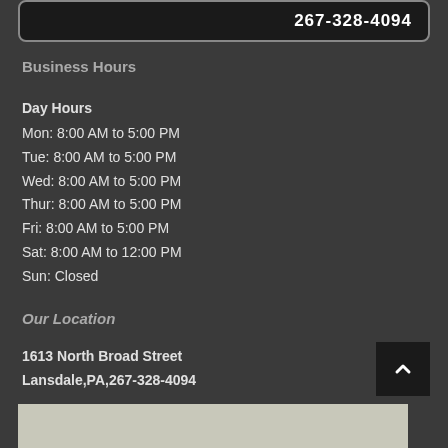[Figure (screenshot): Dark rounded box with phone number 267-328-4094 in white bold text]
Business Hours
Day Hours
Mon: 8:00 AM to 5:00 PM
Tue: 8:00 AM to 5:00 PM
Wed: 8:00 AM to 5:00 PM
Thur: 8:00 AM to 5:00 PM
Fri: 8:00 AM to 5:00 PM
Sat: 8:00 AM to 12:00 PM
Sun: Closed
Our Location
1613 North Broad Street
Lansdale,PA,267-328-4094
[Figure (map): Map preview at bottom of page]